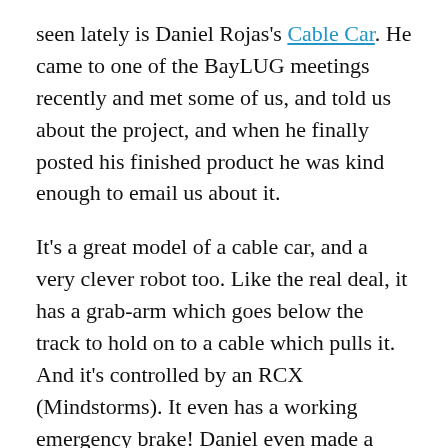seen lately is Daniel Rojas's Cable Car. He came to one of the BayLUG meetings recently and met some of us, and told us about the project, and when he finally posted his finished product he was kind enough to email us about it.
It's a great model of a cable car, and a very clever robot too. Like the real deal, it has a grab-arm which goes below the track to hold on to a cable which pulls it. And it's controlled by an RCX (Mindstorms). It even has a working emergency brake! Daniel even made a great YouTube video so we can see it in action: